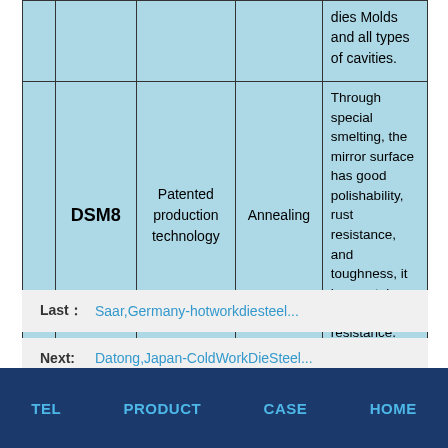|  |  | Production Method | Heat Treatment | Features |
| --- | --- | --- | --- | --- |
|  |  |  |  | dies Molds and all types of cavities. |
|  | DSM8 | Patented production technology | Annealing | Through special smelting, the mirror surface has good polishability, rust resistance, and toughness, it has certain rust resistance. |
Last： Saar,Germany-hotworkdiesteel...
Next: Datong,Japan-ColdWorkDieSteel...
TEL   PRODUCT   CASE   HOME